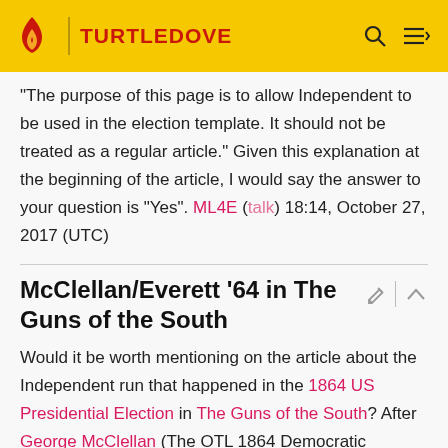TURTLEDOVE
"The purpose of this page is to allow Independent to be used in the election template. It should not be treated as a regular article." Given this explanation at the beginning of the article, I would say the answer to your question is "Yes". ML4E (talk) 18:14, October 27, 2017 (UTC)
McClellan/Everett '64 in The Guns of the South
Would it be worth mentioning on the article about the Independent run that happened in the 1864 US Presidential Election in The Guns of the South? After George McClellan (The OTL 1864 Democratic Presidential Candidate) failed to gain the Democratic nomination, he ran as an Independent candidate with